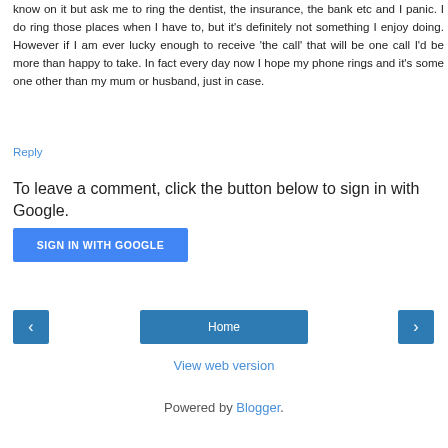know on it but ask me to ring the dentist, the insurance, the bank etc and I panic. I do ring those places when I have to, but it's definitely not something I enjoy doing. However if I am ever lucky enough to receive 'the call' that will be one call I'd be more than happy to take. In fact every day now I hope my phone rings and it's some one other than my mum or husband, just in case.
Reply
To leave a comment, click the button below to sign in with Google.
SIGN IN WITH GOOGLE
‹
Home
›
View web version
Powered by Blogger.